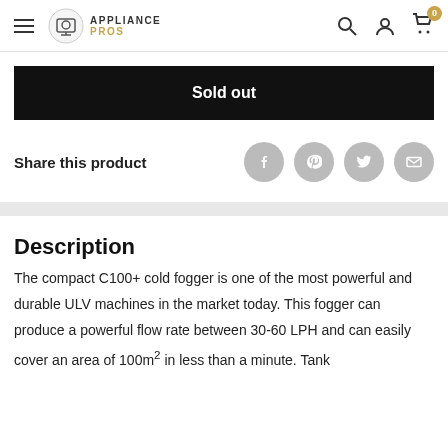Appliance Pros
Sold out
Share this product
Description
The compact C100+ cold fogger is one of the most powerful and durable ULV machines in the market today. This fogger can produce a powerful flow rate between 30-60 LPH and can easily cover an area of 100m² in less than a minute. Tank